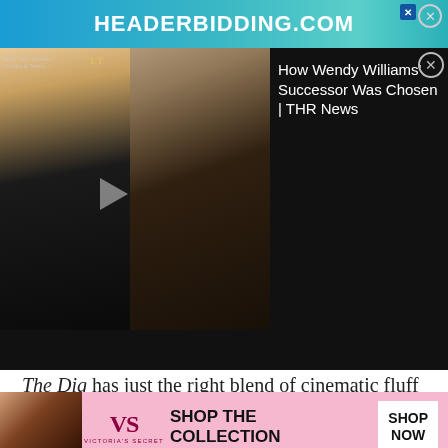[Figure (screenshot): Advertisement banner for HEADERBIDDING.COM with teal gradient background]
[Figure (screenshot): Video thumbnail showing two women (Wendy Williams and successor) side by side with overlay text 'How Wendy Williams' Successor Was Chosen | THR News']
The Dig has just the right blend of cinematic fluff here without falling face-first into complete melodrama. I wouldn't call Mulligan's Pretty and Fiennes' Brown chemistry as the "when will they Sam and Diane situation" where most films will go these days anymore and their relationship's all this out anymore and their relationship's all Brown is a good man without a good reason
[Figure (screenshot): Victoria's Secret advertisement overlay showing model, VS logo, 'SHOP THE COLLECTION' text, and SHOP NOW button]